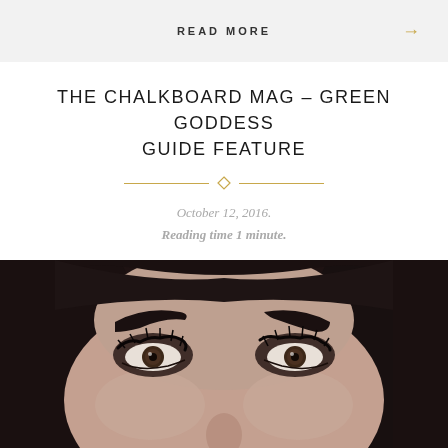READ MORE →
THE CHALKBOARD MAG – GREEN GODDESS GUIDE FEATURE
October 12, 2016.
Reading time 1 minute.
[Figure (photo): Close-up portrait photograph of a woman's face showing her eyes, eyebrows, and upper nose. She has bold dark eyebrows, long lashes, and brown eyes with a smoky eye makeup look. Her hair is dark brown.]